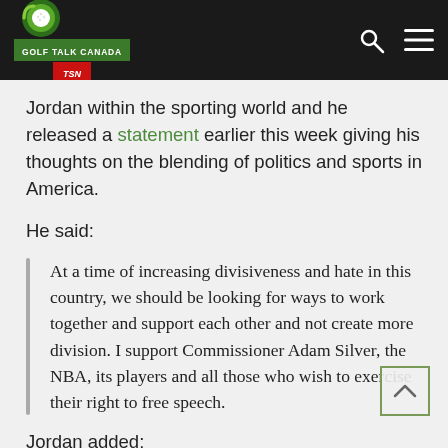[Figure (logo): Golf Talk Canada / TSN logo on dark navigation bar with search and menu icons]
Jordan within the sporting world and he released a statement earlier this week giving his thoughts on the blending of politics and sports in America.
He said:
At a time of increasing divisiveness and hate in this country, we should be looking for ways to work together and support each other and not create more division. I support Commissioner Adam Silver, the NBA, its players and all those who wish to exercise their right to free speech.
Jordan added: